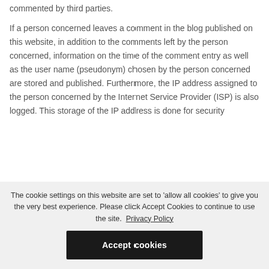commented by third parties.
If a person concerned leaves a comment in the blog published on this website, in addition to the comments left by the person concerned, information on the time of the comment entry as well as the user name (pseudonym) chosen by the person concerned are stored and published. Furthermore, the IP address assigned to the person concerned by the Internet Service Provider (ISP) is also logged. This storage of the IP address is done for security...
The cookie settings on this website are set to 'allow all cookies' to give you the very best experience. Please click Accept Cookies to continue to use the site. Privacy Policy
Accept cookies